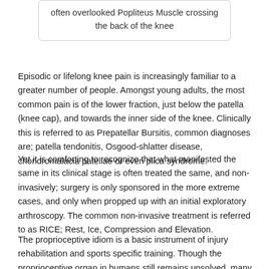often overlooked Popliteus Muscle crossing the back of the knee
Episodic or lifelong knee pain is increasingly familiar to a greater number of people. Amongst young adults, the most common pain is of the lower fraction, just below the patella (knee cap), and towards the inner side of the knee. Clinically this is referred to as Prepatellar Bursitis, common diagnoses are; patella tendonitis, Osgood-shlatter disease, chondromalacia patellae or even plica syndrome.
Yet it is comforting to recognize that what manifested the same in its clinical stage is often treated the same, and non-invasively; surgery is only sponsored in the more extreme cases, and only when propped up with an initial exploratory arthroscopy. The common non-invasive treatment is referred to as RICE; Rest, Ice, Compression and Elevation.
The proprioceptive idiom is a basic instrument of injury rehabilitation and sports specific training. Though the proprioceptive organ in humans still remains unsolved, many are in agreement that the phenomenon is endorsed at all levels and all body systems; from our skin, our respiratory system, to